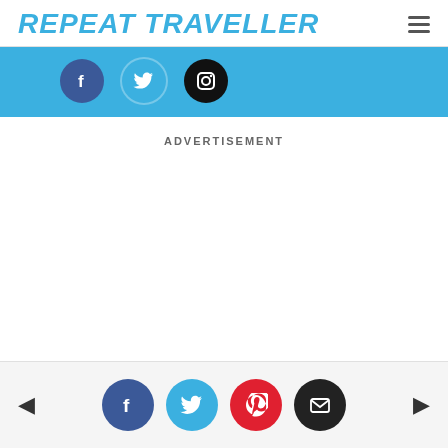REPEAT TRAVELLER
[Figure (illustration): Social media banner with sky blue background showing circular icons for Facebook (dark blue), Twitter (light blue), and Instagram (black) social networks]
ADVERTISEMENT
Navigation footer with left arrow, Facebook, Twitter, Pinterest, and email share buttons, and right arrow